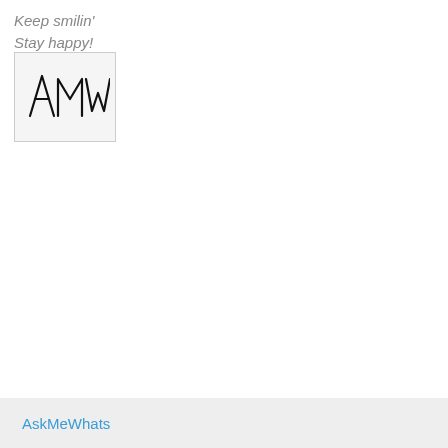Keep smilin'
Stay happy!
[Figure (illustration): Handwritten signature reading 'AMW' in black ink on a light gray background box]
AskMeWhats